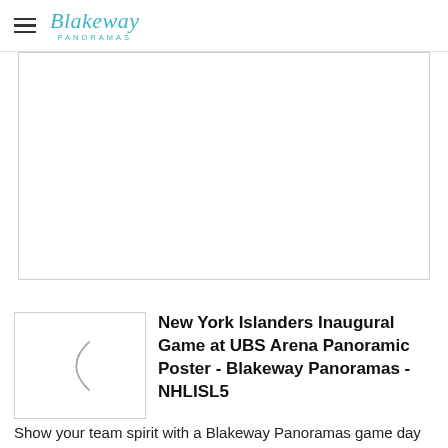Blakeway Panoramas
[Figure (other): White blank rectangular advertisement or image placeholder box with light gray border]
[Figure (other): Product thumbnail image showing a partial circular arc / parenthesis shape on white background with gray border]
New York Islanders Inaugural Game at UBS Arena Panoramic Poster - Blakeway Panoramas - NHLISL5
Show your team spirit with a Blakeway Panoramas game day print...